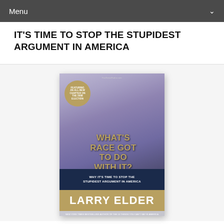Menu
IT'S TIME TO STOP THE STUPIDEST ARGUMENT IN AMERICA
[Figure (photo): Book cover of 'What's Race Got to Do with It? Why It's Time to Stop the Stupidest Argument in America' by Larry Elder. Shows a smiling Black man in a purple/lavender dress shirt. The cover has a gold badge top-left reading 'Featuring an all-new chapter on the 2008 election', gold title text overlay, a dark navy subtitle band, and a gold author name band at the bottom.]